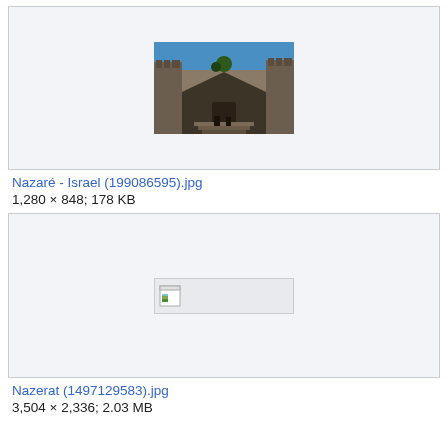[Figure (photo): Thumbnail of a stone building/fortress with blue sky, viewed from courtyard angle. Nazaret Israel photo.]
Nazaré - Israel (199086595).jpg
1,280 × 848; 178 KB
[Figure (photo): Broken/missing image placeholder icon for Nazerat photo.]
Nazerat (1497129583).jpg
3,504 × 2,336; 2.03 MB